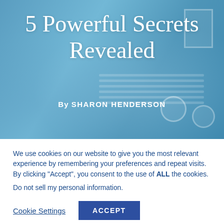[Figure (photo): Background image of a person typing on a laptop with a coffee cup, overlaid with a blue tint. Contains the page title and author byline.]
5 Powerful Secrets Revealed
By SHARON HENDERSON
We use cookies on our website to give you the most relevant experience by remembering your preferences and repeat visits. By clicking “Accept”, you consent to the use of ALL the cookies.
Do not sell my personal information.
Cookie Settings
ACCEPT